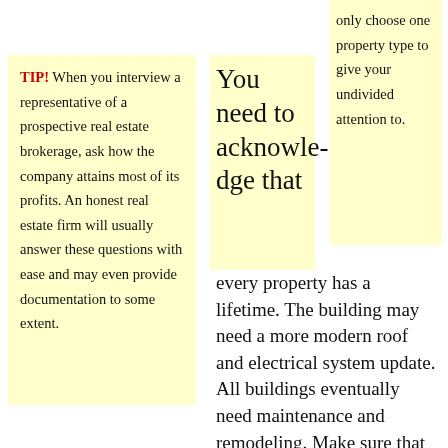TIP! When you interview a representative of a prospective real estate brokerage, ask how the company attains most of its profits. An honest real estate firm will usually answer these questions with ease and may even provide documentation to some extent.
You need to acknowledge that every property has a lifetime. The building may need a more modern roof and electrical system update. All buildings eventually need maintenance and remodeling. Make sure that you develop a plan for the long term to manage repairs such as these.
only choose one property type to give your undivided attention to.